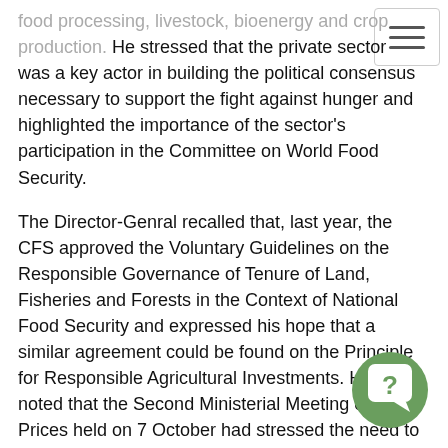[Figure (other): Hamburger menu icon button in top right corner]
food processing, livestock, bioenergy and crop production. He stressed that the private sector was a key actor in building the political consensus necessary to support the fight against hunger and highlighted the importance of the sector's participation in the Committee on World Food Security.
The Director-Genral recalled that, last year, the CFS approved the Voluntary Guidelines on the Responsible Governance of Tenure of Land, Fisheries and Forests in the Context of National Food Security and expressed his hope that a similar agreement could be found on the Principle for Responsible Agricultural Investments. He noted that the Second Ministerial Meeting on Food Prices held on 7 October had stressed the need to increase investment in agriculture and the urgency of agreeing on the principles.
Joining efforts against hunger
"Eradicating hunger is about joining forces to scale up successful programmes and linking actions for better results. In doing so, we need to work with small-scale producers, helping
[Figure (illustration): Green circular help/question mark badge icon in bottom right area]